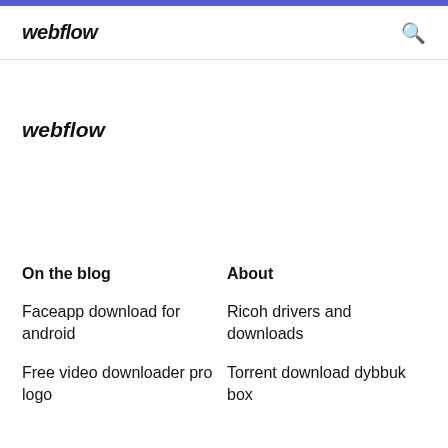webflow
webflow
On the blog
About
Faceapp download for android
Ricoh drivers and downloads
Free video downloader pro logo
Torrent download dybbuk box